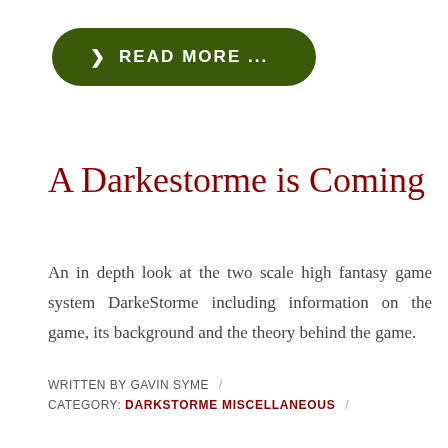READ MORE ...
A Darkestorme is Coming
An in depth look at the two scale high fantasy game system DarkeStorme including information on the game, its background and the theory behind the game.
WRITTEN BY GAVIN SYME /
CATEGORY: DARKSTORME MISCELLANEOUS /